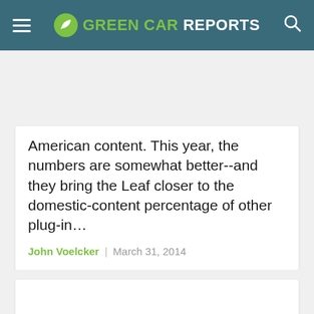GREEN CAR REPORTS
American content. This year, the numbers are somewhat better--and they bring the Leaf closer to the domestic-content percentage of other plug-in...
John Voelcker   March 31, 2014
[Figure (other): Second article card with image placeholder area, largely blank/white]